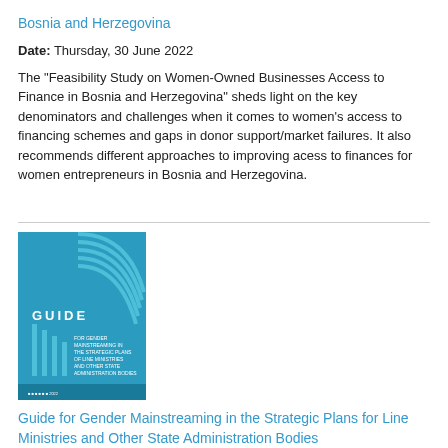Bosnia and Herzegovina
Date: Thursday, 30 June 2022
The "Feasibility Study on Women-Owned Businesses Access to Finance in Bosnia and Herzegovina" sheds light on the key denominators and challenges when it comes to women's access to financing schemes and gaps in donor support/market failures. It also recommends different approaches to improving acess to finances for women entrepreneurs in Bosnia and Herzegovina.
[Figure (photo): Book cover of the Guide for Gender Mainstreaming in the Strategic Plans for Line Ministries and Other State Administration Bodies — teal/blue cover with curved lines design]
Guide for Gender Mainstreaming in the Strategic Plans for Line Ministries and Other State Administration Bodies
Date: Thursday, 14 April 2022
Guide for Gender Mainstreaming in the Strategic Plans for Line Ministries and Other State Adminitration Bodies provides a practical guidance for the administrative officials in mainstreamin...